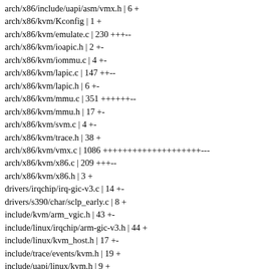arch/x86/include/uapi/asm/vmx.h | 6 +
arch/x86/kvm/Kconfig | 1 +
arch/x86/kvm/emulate.c | 230 +++--
arch/x86/kvm/ioapic.h | 2 +-
arch/x86/kvm/iommu.c | 4 +-
arch/x86/kvm/lapic.c | 147 ++--
arch/x86/kvm/lapic.h | 6 +-
arch/x86/kvm/mmu.c | 351 ++++++--
arch/x86/kvm/mmu.h | 17 +-
arch/x86/kvm/svm.c | 4 +-
arch/x86/kvm/trace.h | 38 +
arch/x86/kvm/vmx.c | 1086 ++++++++++++++++++++---
arch/x86/kvm/x86.c | 209 +++--
arch/x86/kvm/x86.h | 3 +
drivers/irqchip/irq-gic-v3.c | 14 +-
drivers/s390/char/sclp_early.c | 8 +
include/kvm/arm_vgic.h | 43 +-
include/linux/irqchip/arm-gic-v3.h | 44 +
include/linux/kvm_host.h | 17 +-
include/trace/events/kvm.h | 19 +
include/uapi/linux/kvm.h | 9 +
virt/kvm/Kconfig | 10 +
virt/kvm/arm/vgic-v2-emul.c | 847 +++++++++++++++++++
virt/kvm/arm/vgic-v2.c | 4 +
virt/kvm/arm/vgic-v3-emul.c | 1036 ++++++++++++++++++++++++